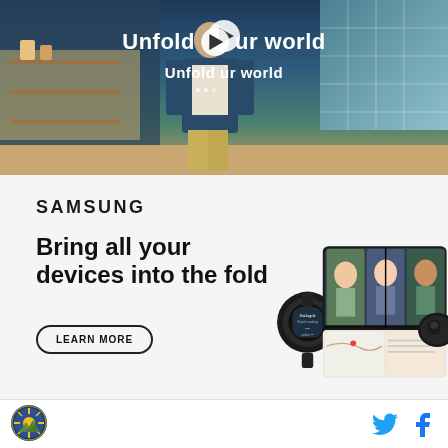[Figure (screenshot): Video screenshot showing a person walking in a cafe/restaurant setting with 'Unfold your world' text and a play button overlay]
[Figure (infographic): Samsung advertisement showing logo, headline 'Bring all your devices into the fold', a Learn More button, and product images of Samsung Galaxy Z Fold phone, Galaxy Watch, and Galaxy Buds]
[Figure (logo): Circular organization logo in the footer on the left side]
[Figure (infographic): Social media icons: Twitter bird icon and Facebook 'f' icon in the footer right side]